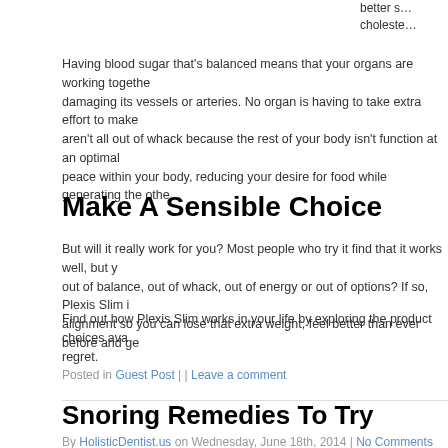better s… choleste…
Having blood sugar that's balanced means that your organs are working together damaging its vessels or arteries. No organ is having to take extra effort to make aren't all out of whack because the rest of your body isn't function at an optimal peace within your body, reducing your desire for food while generating the other
Make A Sensible Choice
But will it really work for you? Most people who try it find that it works well, but y out of balance, out of whack, out of energy or out of options? If so, Plexis Slim is alignment so you can lose that extra weight, feel better than ever before and ge
Find out how Plexis Slim works in your life by exploring the product choices ava regret.
Posted in Guest Post | | Leave a comment
Snoring Remedies To Try
By HolisticDentist.us on Wednesday, June 18th, 2014 | No Comments
The health market is overloaded with devices that promise to get rid of snoring. But the big question is do they really work. Equally important question is if they